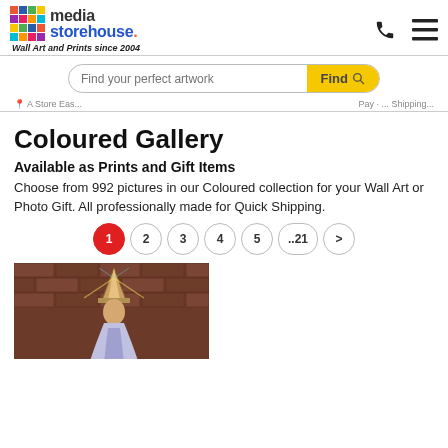[Figure (logo): Media Storehouse logo with colorful squares grid]
Wall Art and Prints since 2004
Find your perfect artwork
Coloured Gallery
Available as Prints and Gift Items
Choose from 992 pictures in our Coloured collection for your Wall Art or Photo Gift. All professionally made for Quick Shipping.
[Figure (photo): Photograph of a religious figure or statue wearing a bishop's mitre hat, against a brick wall background with light effects]